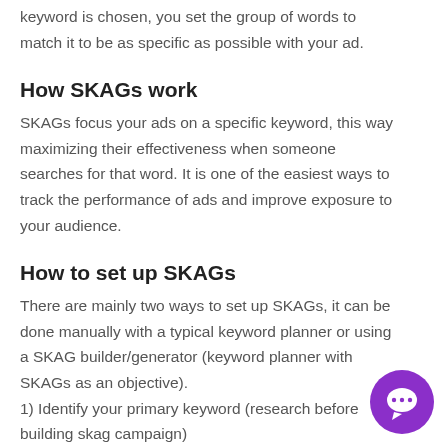keyword is chosen, you set the group of words to match it to be as specific as possible with your ad.
How SKAGs work
SKAGs focus your ads on a specific keyword, this way maximizing their effectiveness when someone searches for that word. It is one of the easiest ways to track the performance of ads and improve exposure to your audience.
How to set up SKAGs
There are mainly two ways to set up SKAGs, it can be done manually with a typical keyword planner or using a SKAG builder/generator (keyword planner with SKAGs as an objective).
1) Identify your primary keyword (research before building skag campaign)
2) Set up ad group